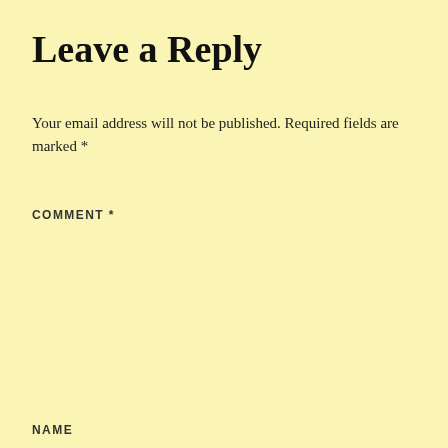Leave a Reply
Your email address will not be published. Required fields are marked *
COMMENT *
[Figure (other): Empty comment text area input field with white background and resize handle]
NAME